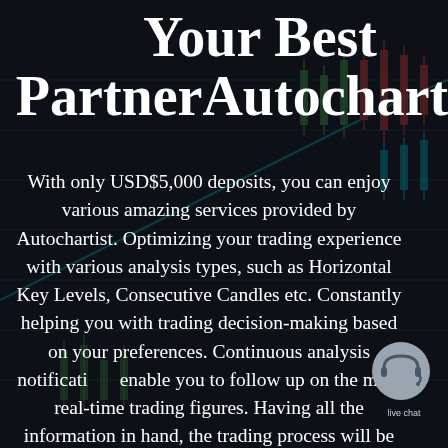Your Best PartnerAutochartist
With only USD$5,000 deposits, you can enjoy various amazing services provided by Autochartist. Optimizing your trading experience with various analysis types, such as Horizontal Key Levels, Consecutive Candles etc. Constantly helping you with trading decision-making based on your preferences. Continuous analysis notifications enable you to follow up on the most real-time trading figures. Having all the information in hand, the trading process will be smoother and better! All
[Figure (illustration): Dark background with candlestick trading chart pattern showing green and red candles with chart lines, decorative financial market background]